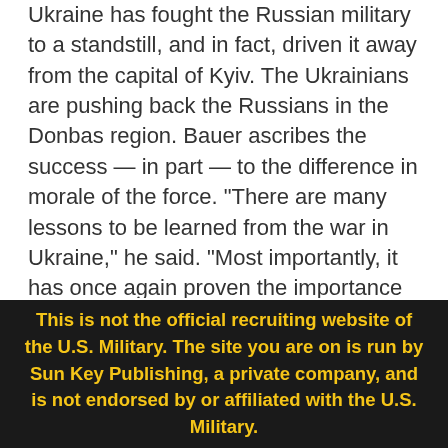Ukraine has fought the Russian military to a standstill, and in fact, driven it away from the capital of Kyiv. The Ukrainians are pushing back the Russians in the Donbas region. Bauer ascribes the success — in part — to the difference in morale of the force. "There are many lessons to be learned from the war in Ukraine," he said. "Most importantly, it has once again proven the importance of morale, to know what you are fighting for. The 3.2 million men and women in uniform who serve this alliance know exactly what they are fighting for: The protection of freedom and democracy; the protection of our way of life."
Air Force Gen. Tod D. Wolters, commander of European...
This is not the official recruiting website of the U.S. Military. The site you are on is run by Sun Key Publishing, a private company, and is not endorsed by or affiliated with the U.S. Military.